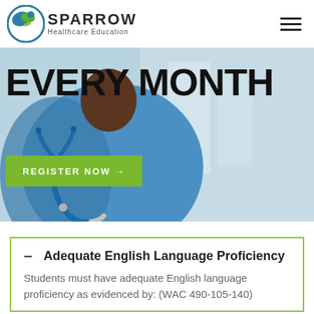SPARROW Healthcare Education
[Figure (photo): Healthcare worker in blue scrubs with stethoscope, blurred background, with large 'EVERY MONTH' text overlay and green 'REGISTER NOW →' button]
EVERY MONTH
REGISTER NOW →
– Adequate English Language Proficiency
Students must have adequate English language proficiency as evidenced by: (WAC 490-105-140)